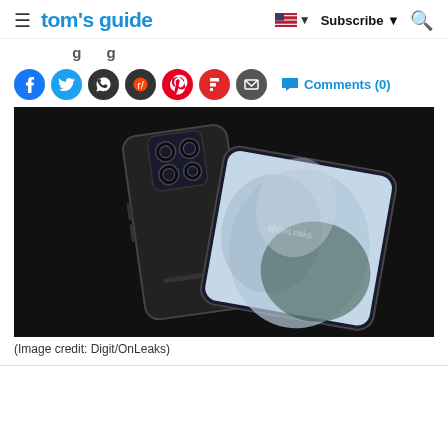tom's guide  Subscribe
[partial page title — cropped]
Comments (0)
[Figure (photo): Samsung Galaxy S22 Ultra renders showing front and back of the phone in black, with multi-camera module visible on the back. Watermark: @OnLeaks]
(Image credit: Digit/OnLeaks)